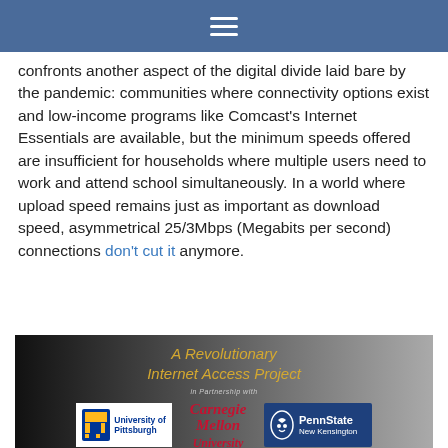≡
confronts another aspect of the digital divide laid bare by the pandemic: communities where connectivity options exist and low-income programs like Comcast's Internet Essentials are available, but the minimum speeds offered are insufficient for households where multiple users need to work and attend school simultaneously. In a world where upload speed remains just as important as download speed, asymmetrical 25/3Mbps (Megabits per second) connections don't cut it anymore.
[Figure (infographic): Dark gradient banner reading 'A Revolutionary Internet Access Project in Partnership with' followed by logos for University of Pittsburgh, Carnegie Mellon University, and Penn State New Kensington]